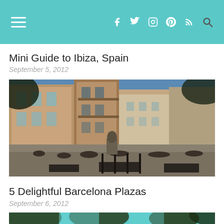Navigation header with menu icon, social icons (facebook, twitter, instagram, pinterest, rss), and search icon
Mini Guide to Ibiza, Spain
September 5, 2012
[Figure (photo): Outdoor plaza in Barcelona with people sitting at café tables, surrounded by historic buildings]
5 Delightful Barcelona Plazas
September 6, 2012
[Figure (photo): Partial view of another outdoor scene with trees and teal sky]